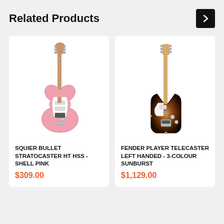Related Products
[Figure (photo): Squier Bullet Stratocaster HT HSS in Shell Pink electric guitar]
SQUIER BULLET STRATOCASTER HT HSS - SHELL PINK
$309.00
[Figure (photo): Fender Player Telecaster Left Handed in 3-Colour Sunburst electric guitar]
FENDER PLAYER TELECASTER LEFT HANDED - 3-COLOUR SUNBURST
$1,129.00